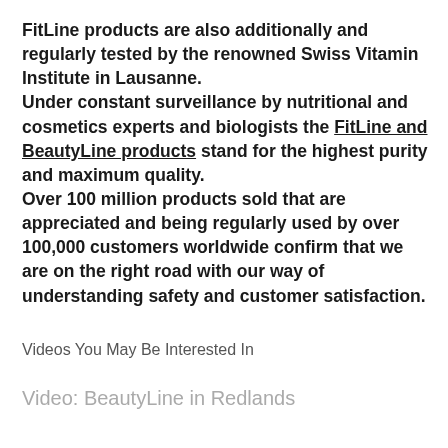FitLine products are also additionally and regularly tested by the renowned Swiss Vitamin Institute in Lausanne. Under constant surveillance by nutritional and cosmetics experts and biologists the FitLine and BeautyLine products stand for the highest purity and maximum quality. Over 100 million products sold that are appreciated and being regularly used by over 100,000 customers worldwide confirm that we are on the right road with our way of understanding safety and customer satisfaction.
Videos You May Be Interested In
Video: BeautyLine in Redlands